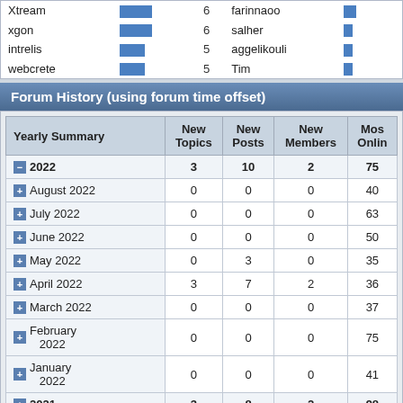| Name | Count |  | Name |  |
| --- | --- | --- | --- | --- |
| Xtream | 6 |  | farinnaoo |  |
| xgon | 6 |  | salher |  |
| intrelis | 5 |  | aggelikouli |  |
| webcrete | 5 |  | Tim |  |
Forum History (using forum time offset)
| Yearly Summary | New Topics | New Posts | New Members | Mos Online |
| --- | --- | --- | --- | --- |
| 2022 | 3 | 10 | 2 | 75 |
| August 2022 | 0 | 0 | 0 | 40 |
| July 2022 | 0 | 0 | 0 | 63 |
| June 2022 | 0 | 0 | 0 | 50 |
| May 2022 | 0 | 3 | 0 | 35 |
| April 2022 | 3 | 7 | 2 | 36 |
| March 2022 | 0 | 0 | 0 | 37 |
| February 2022 | 0 | 0 | 0 | 75 |
| January 2022 | 0 | 0 | 0 | 41 |
| 2021 | 3 | 8 | 2 | 98 |
| 2020 | 1 | 18 | 8 | 246 |